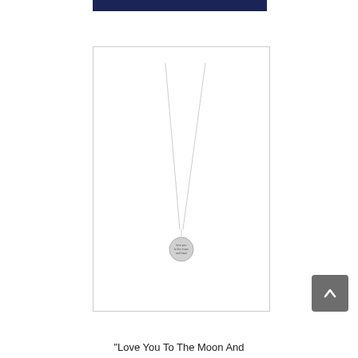[Figure (photo): Silver chain necklace with a small round disc pendant engraved with text, displayed against a white background inside a light gray bordered box]
"Love You To The Moon And